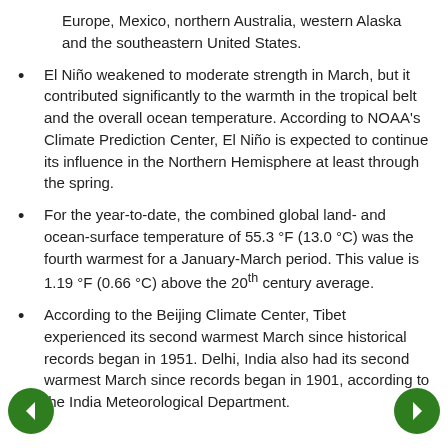Europe, Mexico, northern Australia, western Alaska and the southeastern United States.
El Niño weakened to moderate strength in March, but it contributed significantly to the warmth in the tropical belt and the overall ocean temperature. According to NOAA's Climate Prediction Center, El Niño is expected to continue its influence in the Northern Hemisphere at least through the spring.
For the year-to-date, the combined global land- and ocean-surface temperature of 55.3 °F (13.0 °C) was the fourth warmest for a January-March period. This value is 1.19 °F (0.66 °C) above the 20th century average.
According to the Beijing Climate Center, Tibet experienced its second warmest March since historical records began in 1951. Delhi, India also had its second warmest March since records began in 1901, according to the India Meteorological Department.